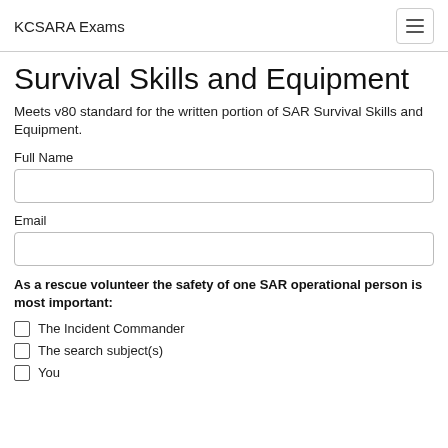KCSARA Exams
Survival Skills and Equipment
Meets v80 standard for the written portion of SAR Survival Skills and Equipment.
Full Name
Email
As a rescue volunteer the safety of one SAR operational person is most important:
The Incident Commander
The search subject(s)
You